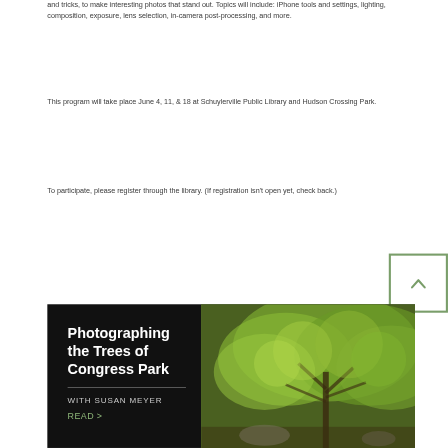and tricks, to make interesting photos that stand out. Topics will include: iPhone tools and settings, lighting, composition, exposure, lens selection, in-camera post-processing, and more.
This program will take place June 4, 11, & 18 at Schuylerville Public Library and Hudson Crossing Park.
To participate, please register through the library. (If registration isn't open yet, check back.)
[Figure (photo): Promotional banner for 'Photographing the Trees of Congress Park' with Susan Meyer. Dark background with white text on left and a photo of green leafy trees on right.]